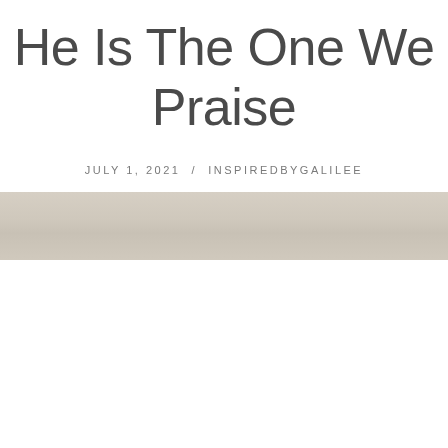He Is The One We Praise
JULY 1, 2021 / INSPIREDBYGALILEE
[Figure (photo): A horizontal band of linen or fabric texture in a beige/tan color stretching across the full width of the page]